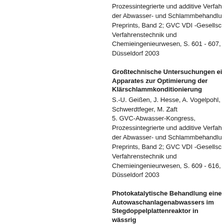Prozessintegrierte und additive Verfahren der Abwasser- und Schlammbehandlung, Preprints, Band 2; GVC VDI -Gesellschaft für Verfahrenstechnik und Chemieingenieurwesen, S. 601 - 607, Düsseldorf 2003
Großtechnische Untersuchungen eines Apparates zur Optimierung der Klärschlammkonditionierung
S.-U. Geißen, J. Hesse, A. Vogelpohl, Schwerdtfeger, M. Zaft
5. GVC-Abwasser-Kongress, Prozessintegrierte und additive Verfahren der Abwasser- und Schlammbehandlung, Preprints, Band 2; GVC VDI -Gesellschaft für Verfahrenstechnik und Chemieingenieurwesen, S. 609 - 616, Düsseldorf 2003
Photokatalytische Behandlung eines Autowaschanlagenabwassers im Stegdoppelplattenreaktor in wässriger TiO2-Suspension
S.-U. Geißen, H. Schröder, E. Emam, A. Vogelpohl
5. GVC-Abwasser-Kongress, Prozessintegrierte und additive Verfahren der Abwasser- und Schlammbehandlung